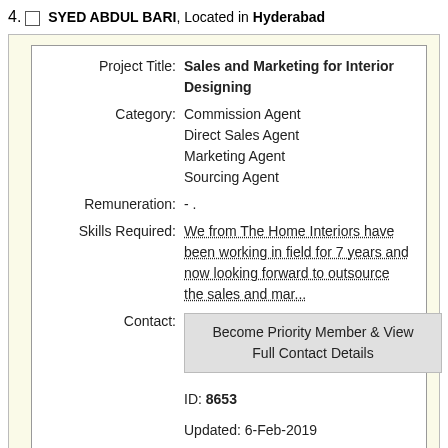4. SYED ABDUL BARI, Located in Hyderabad
| Field | Value |
| --- | --- |
| Project Title: | Sales and Marketing for Interior Designing |
| Category: | Commission Agent
Direct Sales Agent
Marketing Agent
Sourcing Agent |
| Remuneration: | - . |
| Skills Required: | We from The Home Interiors have been working in field for 7 years and now looking forward to outsource the sales and mar... |
| Contact: | Become Priority Member & View Full Contact Details |
|  | ID: 8653
Updated: 6-Feb-2019 |
|  | View Detailed Project |
5. ANTO REASY, Located in Chennai